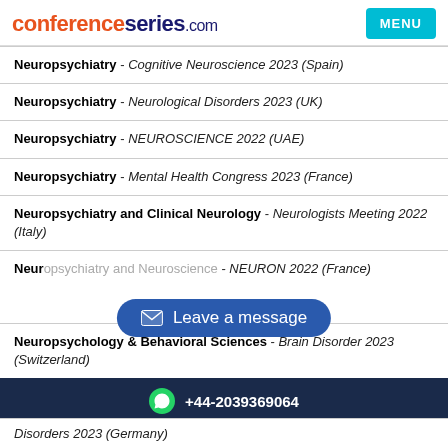conferenceseries.com  MENU
Neuropsychiatry - Cognitive Neuroscience 2023 (Spain)
Neuropsychiatry - Neurological Disorders 2023 (UK)
Neuropsychiatry - NEUROSCIENCE 2022 (UAE)
Neuropsychiatry - Mental Health Congress 2023 (France)
Neuropsychiatry and Clinical Neurology - Neurologists Meeting 2022 (Italy)
Neuropsychiatry and Neuroscience - NEURON 2022 (France)
Neuropsychology & Behavioral Sciences - Brain Disorder 2023 (Switzerland)
+44-2039369064
Disorders 2023 (Germany)